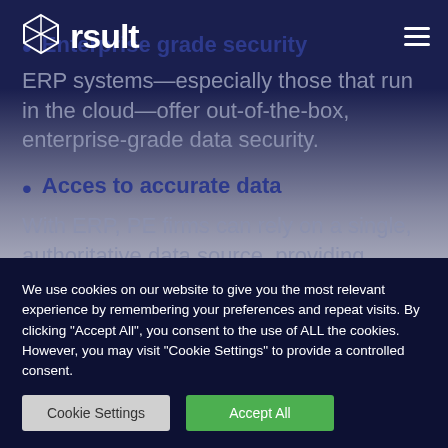[Figure (logo): rsult company logo with geometric cube icon and wordmark]
Enterprise grade security
ERP systems—especially those that run in the cloud—offer out-of-the-box, enterprise-grade data security.
Acces to accurate data
With ERP, PE firms can rely on a single, authoritative data source, providing assurance that the data they're receiving...
We use cookies on our website to give you the most relevant experience by remembering your preferences and repeat visits. By clicking "Accept All", you consent to the use of ALL the cookies. However, you may visit "Cookie Settings" to provide a controlled consent.